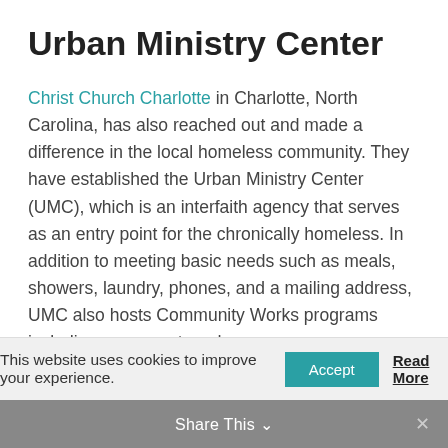Urban Ministry Center
Christ Church Charlotte in Charlotte, North Carolina, has also reached out and made a difference in the local homeless community. They have established the Urban Ministry Center (UMC), which is an interfaith agency that serves as an entry point for the chronically homeless. In addition to meeting basic needs such as meals, showers, laundry, phones, and a mailing address, UMC also hosts Community Works programs including soccer, art, and
This website uses cookies to improve your experience.
Accept
Read More
Share This ∨
✕